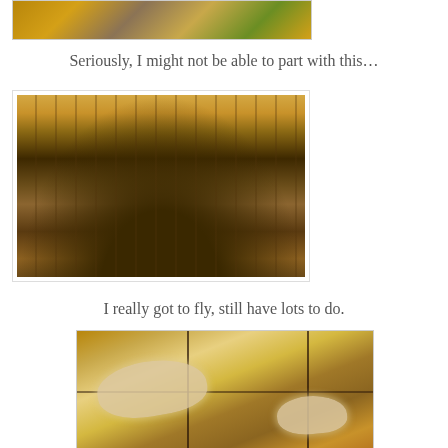[Figure (photo): Partial view of a colorful holiday decoration or food spread, cropped at top]
Seriously, I might not be able to part with this…
[Figure (photo): A wire dish rack or cutlery holder filled with silverware — forks, spoons, knives — sitting on a wooden surface with colorful decorations in the background]
I really got to fly, still have lots to do.
[Figure (photo): Glittery bird ornaments hanging on a metal rack or stand, with warm brown background]